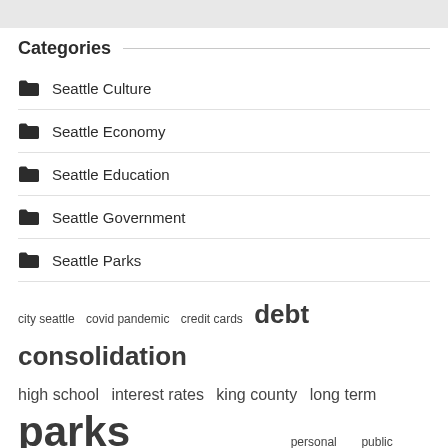Categories
Seattle Culture
Seattle Economy
Seattle Education
Seattle Government
Seattle Parks
city seattle  covid pandemic  credit cards  debt consolidation  high school  interest rates  king county  long term  parks recreation  personal loans  public schools  seattle parks  seattle times  united states